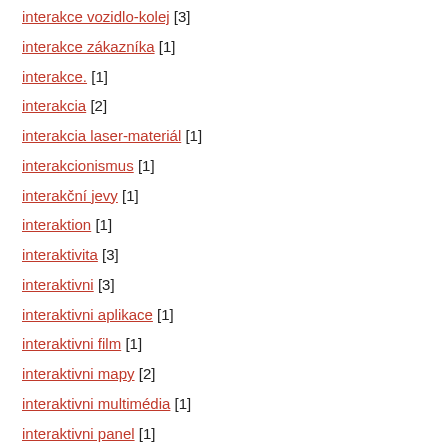interakce vozidlo-kolej [3]
interakce zákazníka [1]
interakce. [1]
interakcia [2]
interakcia laser-materiál [1]
interakcionismus [1]
interakční jevy [1]
interaktion [1]
interaktivita [3]
interaktivni [3]
interaktivni aplikace [1]
interaktivni film [1]
interaktivni mapy [2]
interaktivni multimédia [1]
interaktivni panel [1]